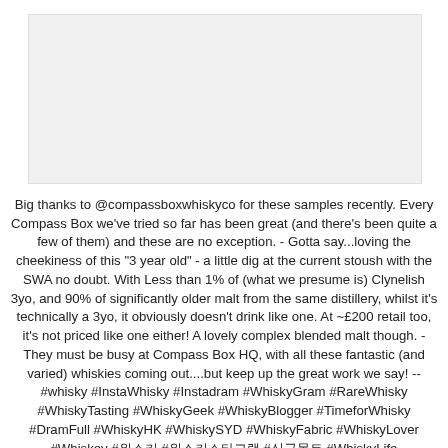[Figure (photo): Image placeholder at top of social media post]
Big thanks to @compassboxwhiskyco for these samples recently. Every Compass Box we've tried so far has been great (and there's been quite a few of them) and these are no exception. - Gotta say...loving the cheekiness of this "3 year old" - a little dig at the current stoush with the SWA no doubt. With Less than 1% of (what we presume is) Clynelish 3yo, and 90% of significantly older malt from the same distillery, whilst it's technically a 3yo, it obviously doesn't drink like one. At ~£200 retail too, it's not priced like one either! A lovely complex blended malt though. - They must be busy at Compass Box HQ, with all these fantastic (and varied) whiskies coming out....but keep up the great work we say! -- #whisky #InstaWhisky #Instadram #WhiskyGram #RareWhisky #WhiskyTasting #WhiskyGeek #WhiskyBlogger #TimeforWhisky #DramFull #WhiskyHK #WhiskySYD #WhiskyFabric #WhiskyLover #Whiskey #위스키 #위스키스타그램 #싱글몰트 #WhiskyLife #WhiskyPorn #HongKongWhisky #WhiskySamples #CompassBoxWhisky